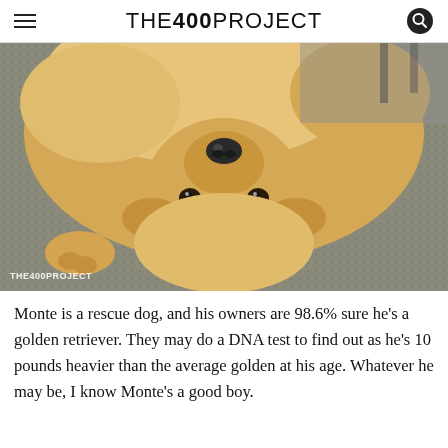THE 400 PROJECT
[Figure (photo): A golden retriever dog lying on its back on a grey carpet, viewed upside-down, showing its nose, eyes, and paws. The dog has fluffy golden fur. A THE400PROJECT watermark appears in the lower left of the image.]
Monte is a rescue dog, and his owners are 98.6% sure he's a golden retriever. They may do a DNA test to find out as he's 10 pounds heavier than the average golden at his age. Whatever he may be, I know Monte's a good boy.